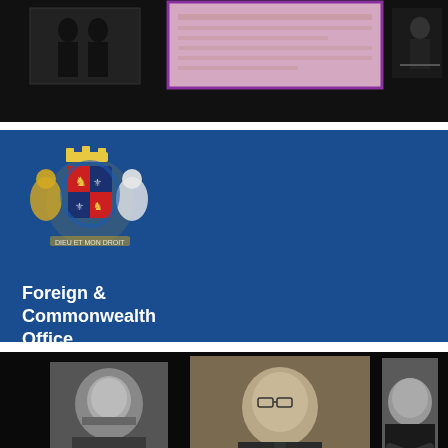[Figure (photo): Three images on black background: left shows two figures in dark setting, center shows a document with purple border (pinkish/beige document form), right shows a person writing]
[Figure (logo): Foreign & Commonwealth Office banner with royal coat of arms logo on blue background, text reads 'Foreign & Commonwealth Office']
[Figure (photo): Black background with three portrait photos: left shows older man in black and white, center shows man in suit with glasses seated, right shows elderly man with arms crossed. MI6 and Security Service MI5 logos in teal/white at bottom center]
[Figure (photo): Dark teal/black globe image, partial view of Earth from space]